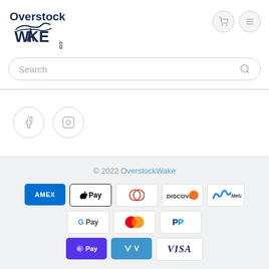[Figure (logo): OverstockWake.com logo in dark navy blue with wakeboarding graphic]
Search
[Figure (infographic): Social media icons: Facebook and Instagram circles]
© 2022 OverstockWake
[Figure (infographic): Payment method logos: AMEX, Apple Pay, Diners Club, Discover, Meta Pay, Google Pay, Mastercard, PayPal, Shop Pay, Venmo, Visa]